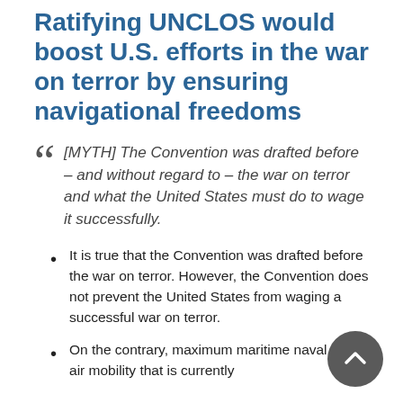Ratifying UNCLOS would boost U.S. efforts in the war on terror by ensuring navigational freedoms
[MYTH] The Convention was drafted before – and without regard to – the war on terror and what the United States must do to wage it successfully.
It is true that the Convention was drafted before the war on terror. However, the Convention does not prevent the United States from waging a successful war on terror.
On the contrary, maximum maritime naval and air mobility that is currently